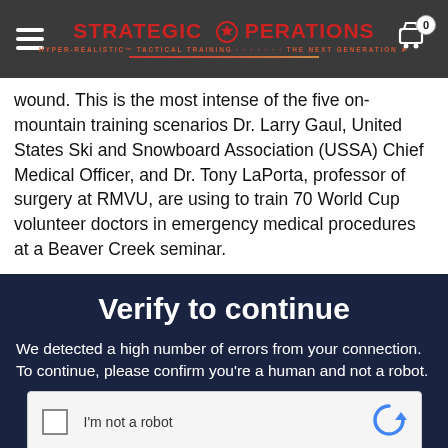Strategic Operations — HYPER-REALISTIC TACTICAL TRAINING — THE NEXT GENERATION
wound. This is the most intense of the five on-mountain training scenarios Dr. Larry Gaul, United States Ski and Snowboard Association (USSA) Chief Medical Officer, and Dr. Tony LaPorta, professor of surgery at RMVU, are using to train 70 World Cup volunteer doctors in emergency medical procedures at a Beaver Creek seminar.
Verify to continue
We detected a high number of errors from your connection. To continue, please confirm you're a human and not a robot.
[Figure (other): Vimeo watermark overlaid on the verification message]
[Figure (other): reCAPTCHA checkbox with label 'I'm not a robot' and reCAPTCHA logo]